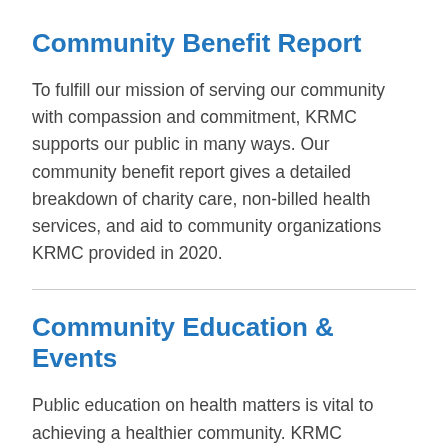Community Benefit Report
To fulfill our mission of serving our community with compassion and commitment, KRMC supports our public in many ways. Our community benefit report gives a detailed breakdown of charity care, non-billed health services, and aid to community organizations KRMC provided in 2020.
Community Education & Events
Public education on health matters is vital to achieving a healthier community. KRMC conducts extensive outreach in our community and hosts a variety of free public events where adults and